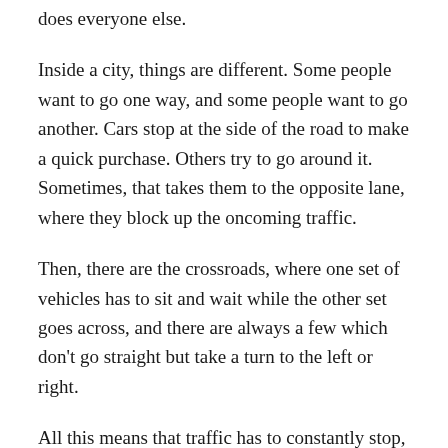does everyone else.
Inside a city, things are different. Some people want to go one way, and some people want to go another. Cars stop at the side of the road to make a quick purchase. Others try to go around it. Sometimes, that takes them to the opposite lane, where they block up the oncoming traffic.
Then, there are the crossroads, where one set of vehicles has to sit and wait while the other set goes across, and there are always a few which don't go straight but take a turn to the left or right.
All this means that traffic has to constantly stop, wait, slow down, or adjust direction, and never gets the space to actually reach its maximum speed. When more cars come onto the road, there are more reasons to stop moving, and even less road-space to move into.